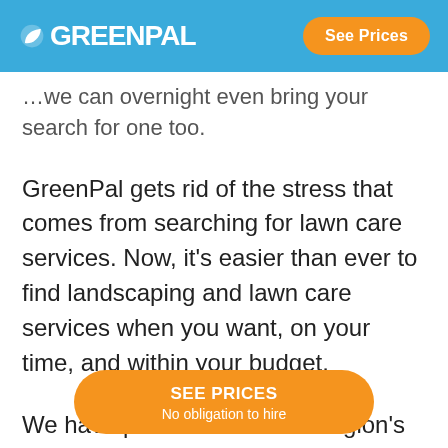GREENPAL | See Prices
…we can overnight even bring your search for one too.
GreenPal gets rid of the stress that comes from searching for lawn care services. Now, it's easier than ever to find landscaping and lawn care services when you want, on your time, and within your budget.
We have partnered with the region's best lawn service companies and listed them on our ap…
SEE PRICES
No obligation to hire